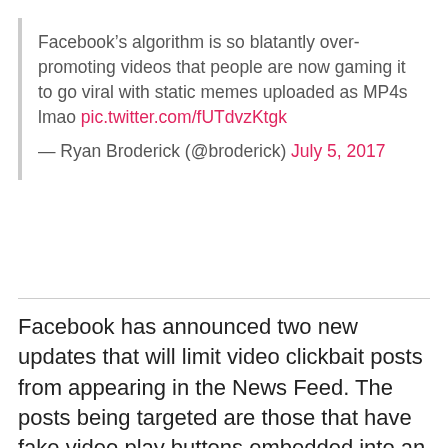Facebook's algorithm is so blatantly over-promoting videos that people are now gaming it to go viral with static memes uploaded as MP4s lmao pic.twitter.com/fUTdvzKtgk

— Ryan Broderick (@broderick) July 5, 2017
Facebook has announced two new updates that will limit video clickbait posts from appearing in the News Feed. The posts being targeted are those that have fake video play buttons embedded into an image, and videos of a static image.